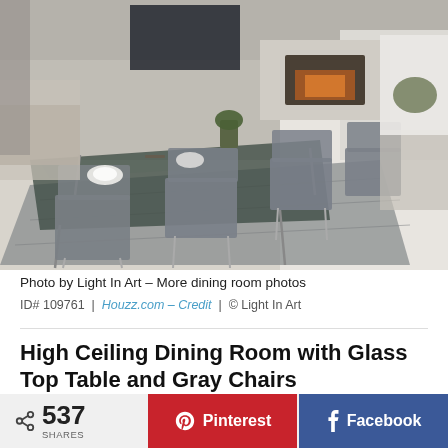[Figure (photo): Modern dining room with glass top table, gray upholstered chairs on metal legs, large area rug, fireplace in background, open plan living area with white walls and bright natural light.]
Photo by Light In Art – More dining room photos
ID# 109761 | Houzz.com – Credit | © Light In Art
High Ceiling Dining Room with Glass Top Table and Gray Chairs
Oversized artwork directly draws attention to the
537 SHARES
Pinterest
Facebook